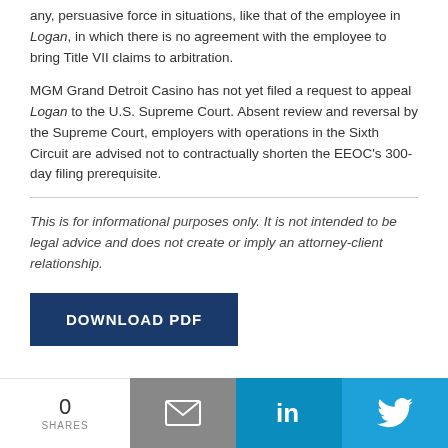any, persuasive force in situations, like that of the employee in Logan, in which there is no agreement with the employee to bring Title VII claims to arbitration.
MGM Grand Detroit Casino has not yet filed a request to appeal Logan to the U.S. Supreme Court. Absent review and reversal by the Supreme Court, employers with operations in the Sixth Circuit are advised not to contractually shorten the EEOC's 300-day filing prerequisite.
This is for informational purposes only. It is not intended to be legal advice and does not create or imply an attorney-client relationship.
[Figure (other): Download PDF button - dark navy blue rectangle with white uppercase bold text reading DOWNLOAD PDF]
0 SHARES | Email icon | LinkedIn icon | Twitter icon